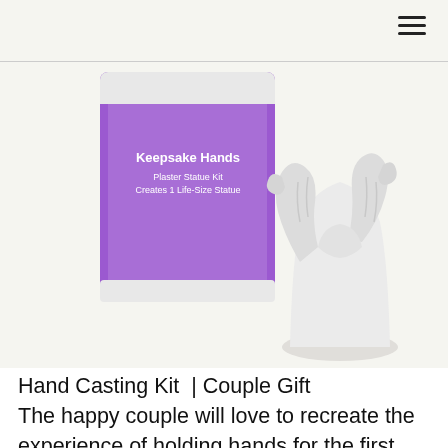[Figure (photo): Product photo showing a purple box labeled 'Keepsake Hands Plaster Statue Kit Creates 1 Life-Size Statue' next to a white plaster cast of two hands holding each other, displayed against a light background.]
Hand Casting Kit  | Couple Gift
The happy couple will love to recreate the experience of holding hands for the first time, and you’ll get a beautiful keepsake cast in durable plaster! This hand casting kit includes all the necessary materials to create five different types of